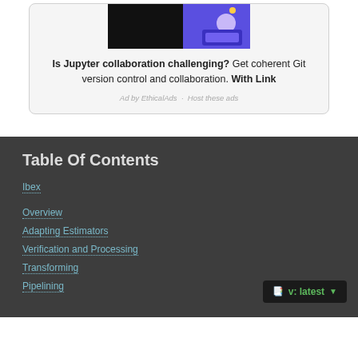[Figure (illustration): Advertisement banner image showing a dark background with a purple illustrated character at a computer]
Is Jupyter collaboration challenging? Get coherent Git version control and collaboration. With Link
Ad by EthicalAds · Host these ads
Table Of Contents
Ibex
Overview
Adapting Estimators
Verification and Processing
Transforming
Pipelining